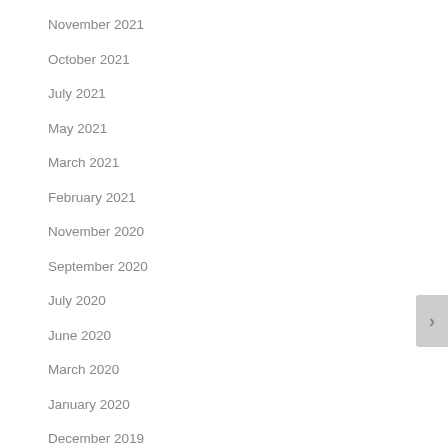November 2021
October 2021
July 2021
May 2021
March 2021
February 2021
November 2020
September 2020
July 2020
June 2020
March 2020
January 2020
December 2019
November 2019